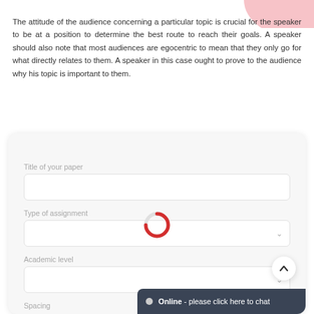The attitude of the audience concerning a particular topic is crucial for the speaker to be at a position to determine the best route to reach their goals. A speaker should also note that most audiences are egocentric to mean that they only go for what directly relates to them. A speaker in this case ought to prove to the audience why his topic is important to them.
[Figure (screenshot): A web form UI with fields: Title of your paper (text input), Type of assignment (dropdown), Academic level (dropdown), Spacing (label visible). A red loading spinner/donut icon overlays the Type of assignment area. A scroll-to-top arrow button appears on the right. An online chat bar at the bottom reads: Online - please click here to chat.]